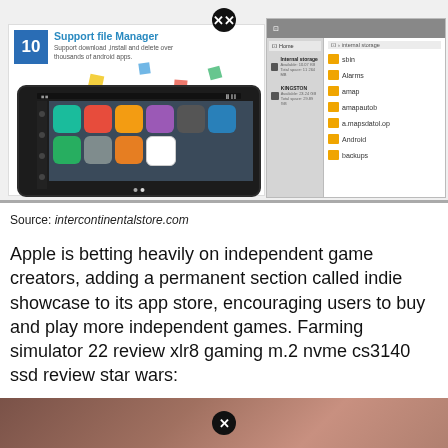[Figure (screenshot): Screenshot of 'Support file Manager' app listing (numbered 10) showing an Android device with app icons and a file manager interface with folder listing including sbin, Alarms, amap, amapautob, a.mapsdatol.op, Android, backups]
Source: intercontinentalstore.com
Apple is betting heavily on independent game creators, adding a permanent section called indie showcase to its app store, encouraging users to buy and play more independent games. Farming simulator 22 review xlr8 gaming m.2 nvme cs3140 ssd review star wars:
[Figure (photo): Bottom strip showing a partial photo with brownish/reddish tones, with a close/dismiss button overlay]